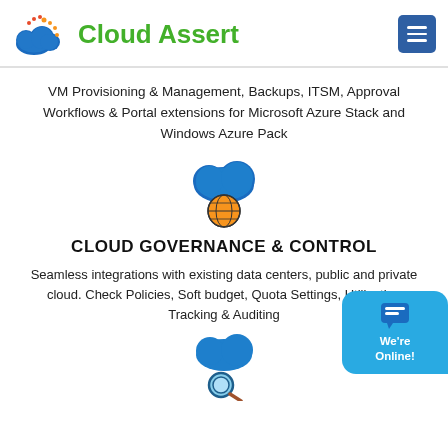Cloud Assert
VM Provisioning & Management, Backups, ITSM, Approval Workflows & Portal extensions for Microsoft Azure Stack and Windows Azure Pack
[Figure (illustration): Blue cloud with golden/orange globe icon representing cloud governance]
CLOUD GOVERNANCE & CONTROL
Seamless integrations with existing data centers, public and private cloud. Check Policies, Soft budget, Quota Settings, Utilization Tracking & Auditing
[Figure (illustration): Blue cloud with magnifying glass icon below]